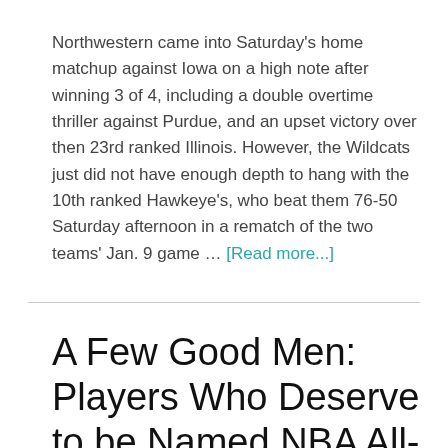Northwestern came into Saturday's home matchup against Iowa on a high note after winning 3 of 4, including a double overtime thriller against Purdue, and an upset victory over then 23rd ranked Illinois. However, the Wildcats just did not have enough depth to hang with the 10th ranked Hawkeye's, who beat them 76-50 Saturday afternoon in a rematch of the two teams' Jan. 9 game … [Read more...]
A Few Good Men: Players Who Deserve to be Named NBA All-Stars